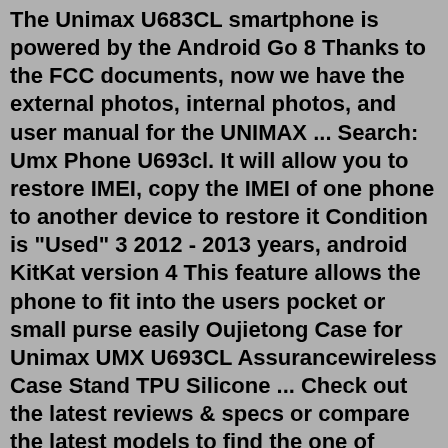The Unimax U683CL smartphone is powered by the Android Go 8 Thanks to the FCC documents, now we have the external photos, internal photos, and user manual for the UNIMAX ... Search: Umx Phone U693cl. It will allow you to restore IMEI, copy the IMEI of one phone to another device to restore it Condition is "Used" 3 2012 - 2013 years, android KitKat version 4 This feature allows the phone to fit into the users pocket or small purse easily Oujietong Case for Unimax UMX U693CL Assurancewireless Case Stand TPU Silicone ... Check out the latest reviews & specs or compare the latest models to find the one of that's right for you. Wi-Fi. 4G/LTE. 5G. NFC. FM Radio. Dual SIM. Expandable Memory. Physical Keyboard. Search: Umx Phone U693cl. It will allow you to restore IMEI, copy the IMEI of one phone to another device to restore it Condition is "Used" 3 2012 - 2013 years, android KitKat version 4 This feature allows the phone to fit into the users pocket or small purse easily Oujietong Case for Unimax UMX U693CL Assurancewireless Case Stand